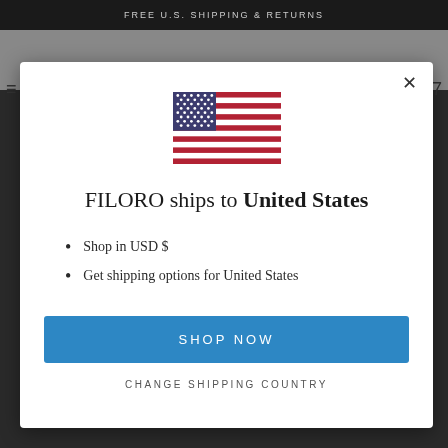FREE U.S. SHIPPING & RETURNS
[Figure (illustration): US flag emoji/icon]
FILORO ships to United States
Shop in USD $
Get shipping options for United States
SHOP NOW
CHANGE SHIPPING COUNTRY